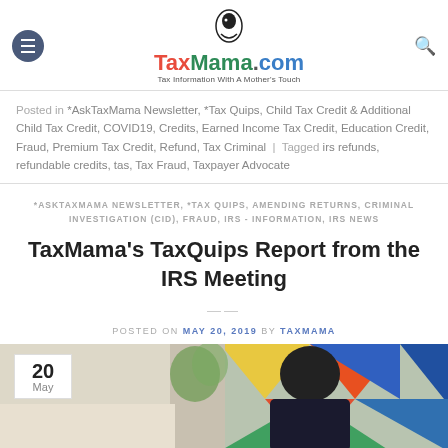TaxMama.com — Tax Information With A Mother's Touch
Posted in *AskTaxMama Newsletter, *Tax Quips, Child Tax Credit & Additional Child Tax Credit, COVID19, Credits, Earned Income Tax Credit, Education Credit, Fraud, Premium Tax Credit, Refund, Tax Criminal | Tagged irs refunds, refundable credits, tas, Tax Fraud, Taxpayer Advocate
*ASKTAXMAMA NEWSLETTER, *TAX QUIPS, AMENDING RETURNS, CRIMINAL INVESTIGATION (CID), FRAUD, IRS - INFORMATION, IRS NEWS
TaxMama's TaxQuips Report from the IRS Meeting
POSTED ON MAY 20, 2019 BY TAXMAMA
[Figure (photo): Photo of a person seen from behind with colorful geometric background, with a date badge showing 20 May in the bottom-left corner]